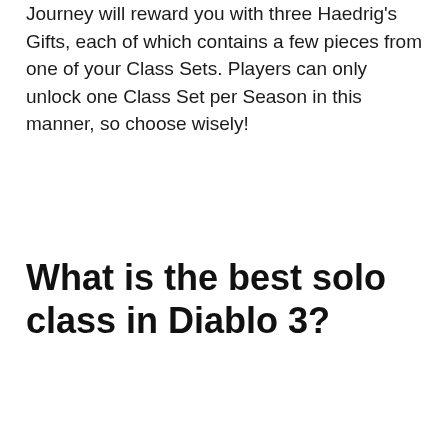Journey will reward you with three Haedrig's Gifts, each of which contains a few pieces from one of your Class Sets. Players can only unlock one Class Set per Season in this manner, so choose wisely!
What is the best solo class in Diablo 3?
Advertisement